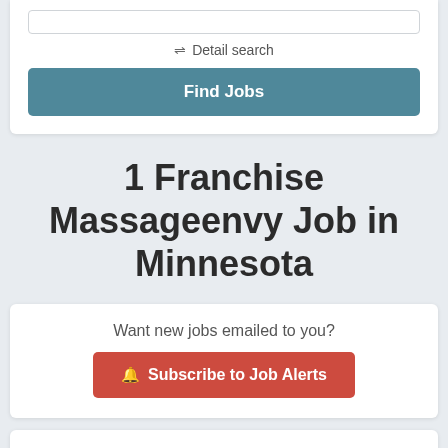≡= Detail search
Find Jobs
1 Franchise Massageenvy Job in Minnesota
Want new jobs emailed to you?
Subscribe to Job Alerts
Licensed Esthetician
09/17/2022 · Franchise Massageenvy